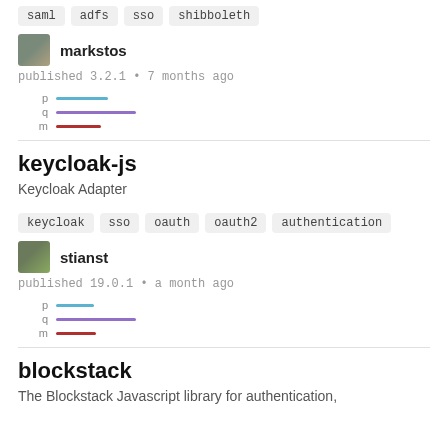saml  adfs  sso  shibboleth
markstos
published 3.2.1 • 7 months ago
[Figure (infographic): Three metric bars labeled p (blue), q (purple), m (dark red)]
keycloak-js
Keycloak Adapter
keycloak  sso  oauth  oauth2  authentication
stianst
published 19.0.1 • a month ago
[Figure (infographic): Three metric bars labeled p (blue), q (purple), m (dark red)]
blockstack
The Blockstack Javascript library for authentication,